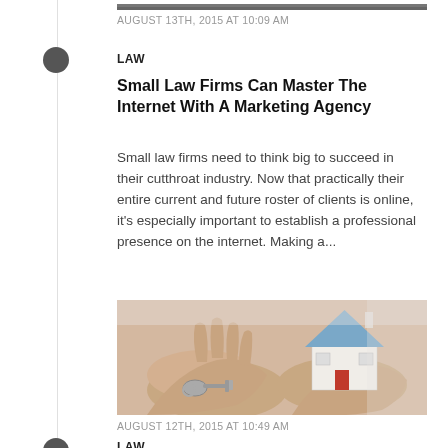[Figure (photo): Cropped top portion of a photo, partially visible at top of page]
AUGUST 13TH, 2015 AT 10:09 AM
LAW
Small Law Firms Can Master The Internet With A Marketing Agency
Small law firms need to think big to succeed in their cutthroat industry. Now that practically their entire current and future roster of clients is online, it’s especially important to establish a professional presence on the internet. Making a…
[Figure (photo): Hands holding house keys and a small model house with red roof]
AUGUST 12TH, 2015 AT 10:49 AM
LAW